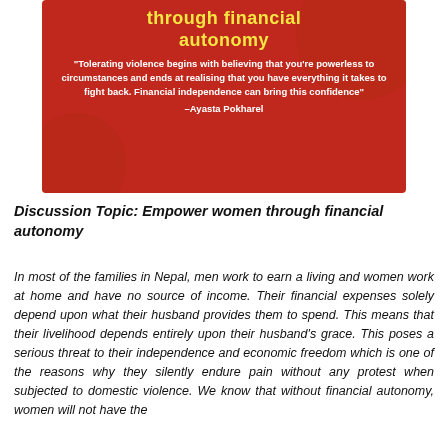[Figure (infographic): Red background card with yellow bold title text showing partial heading 'through financial autonomy' and a white bold italic quote: 'Tolerating violence begins with believing that you're powerless to circumstances and ends at realising that you have everything it takes to fight back. Financial independence can bring this confidence' attributed to –Ayasta Pokharel]
Discussion Topic: Empower women through financial autonomy
In most of the families in Nepal, men work to earn a living and women work at home and have no source of income. Their financial expenses solely depend upon what their husband provides them to spend. This means that their livelihood depends entirely upon their husband's grace. This poses a serious threat to their independence and economic freedom which is one of the reasons why they silently endure pain without any protest when subjected to domestic violence. We know that without financial autonomy, women will not have the...